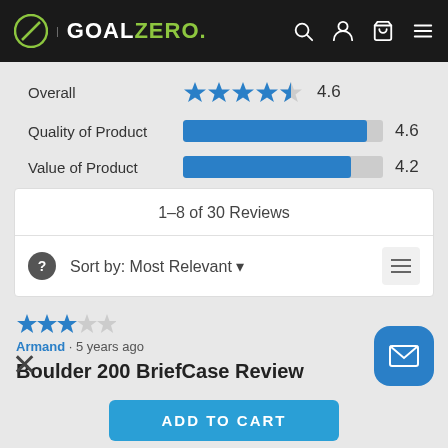GOAL ZERO
Overall 4.6
Quality of Product 4.6
Value of Product 4.2
1–8 of 30 Reviews
Sort by: Most Relevant
Armand · 5 years ago
Boulder 200 BriefCase Review